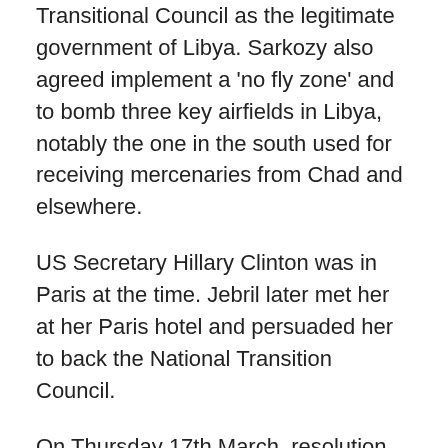Transitional Council as the legitimate government of Libya. Sarkozy also agreed implement a 'no fly zone' and to bomb three key airfields in Libya, notably the one in the south used for receiving mercenaries from Chad and elsewhere.
US Secretary Hillary Clinton was in Paris at the time. Jebril later met her at her Paris hotel and persuaded her to back the National Transition Council.
On Thursday 17th March, resolution 1973 was put before the UN Security Council in New York, when France, Britain and the USA
were among the ten who voted in favour of the use of all necessary means to protect civilian lives in Libya.
Russia and China were among five nations which